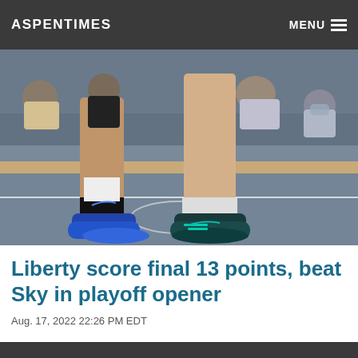ASPENTIMES | MENU
[Figure (photo): Close-up photo of basketball players' legs and sneakers on a blue basketball court, with spectators visible in the background.]
Liberty score final 13 points, beat Sky in playoff opener
Aug. 17, 2022 22:26 PM EDT